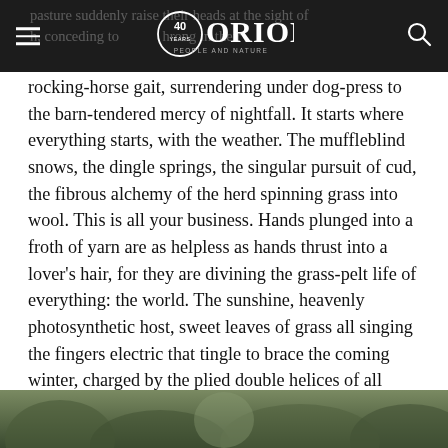ORION — PEOPLE AND NATURE (40th anniversary logo)
pasture suddenly raise their heads at the sight of h, conceding to throng in their rocking-horse gait, surrendering under dog-press to the barn-tendered mercy of nightfall. It starts where everything starts, with the weather. The muffleblind snows, the dingle springs, the singular pursuit of cud, the fibrous alchemy of the herd spinning grass into wool. This is all your business. Hands plunged into a froth of yarn are as helpless as hands thrust into a lover's hair, for they are divining the grass-pelt life of everything: the world. The sunshine, heavenly photosynthetic host, sweet leaves of grass all singing the fingers electric that tingle to brace the coming winter, charged by the plied double helices of all creatures that have prepared and justly survived on the firmament of patience and swaddled children. It's all of a piece. All one thing. O
[Figure (photo): Bottom strip showing what appears to be an outdoor nature/forest scene, partially visible]